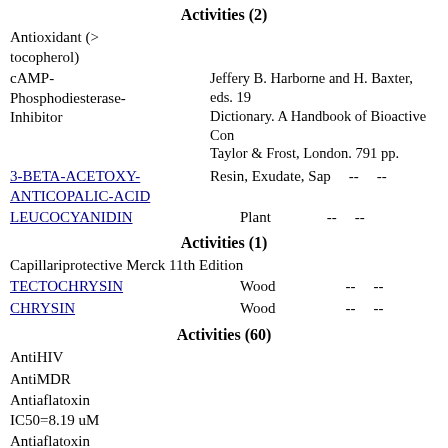Activities (2)
Antioxidant (> tocopherol)
cAMP-Phosphodiesterase-Inhibitor
Jeffery B. Harborne and H. Baxter, eds. 19 Dictionary. A Handbook of Bioactive Con Taylor & Frost, London. 791 pp.
3-BETA-ACETOXY-ANTICOPALIC-ACID   Resin, Exudate, Sap   --   --
LEUCOCYANIDIN   Plant   --   --
Activities (1)
Capillariprotective Merck 11th Edition
TECTOCHRYSIN   Wood   --   --
CHRYSIN   Wood   --   --
Activities (60)
AntiHIV
AntiMDR
Antiaflatoxin IC50=8.19 uM
Antiaflatoxin IC50=2.08 ppm
Antiaggregant